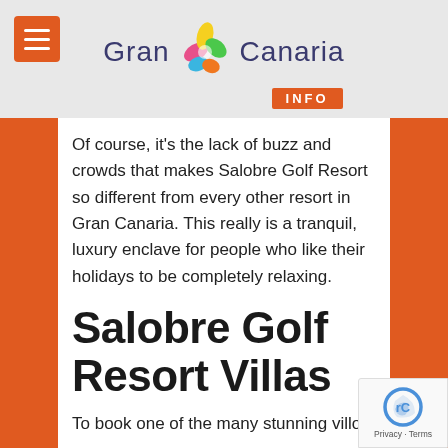Gran Canaria INFO
Of course, it's the lack of buzz and crowds that makes Salobre Golf Resort so different from every other resort in Gran Canaria. This really is a tranquil, luxury enclave for people who like their holidays to be completely relaxing.
Salobre Golf Resort Villas
To book one of the many stunning villas at Salobre Golf Resort...